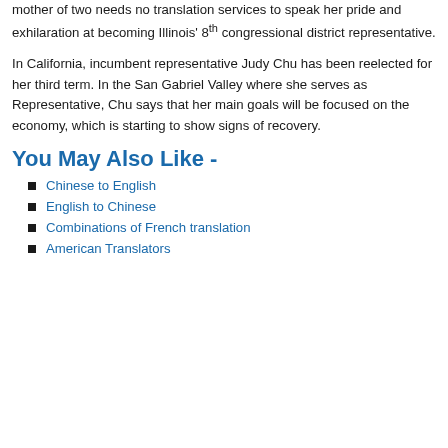mother of two needs no translation services to speak her pride and exhilaration at becoming Illinois' 8th congressional district representative.
In California, incumbent representative Judy Chu has been reelected for her third term. In the San Gabriel Valley where she serves as Representative, Chu says that her main goals will be focused on the economy, which is starting to show signs of recovery.
You May Also Like -
Chinese to English
English to Chinese
Combinations of French translation
American Translators